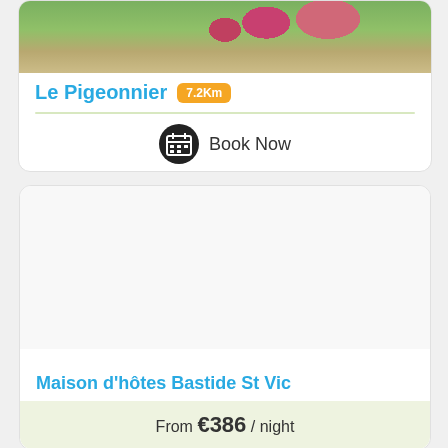[Figure (photo): Garden path photo at top of first property card]
Le Pigeonnier 7.2Km
Book Now
[Figure (other): Camera icon in dashed circle and map pin icon in dashed circle for second property card]
Maison d'hôtes Bastide St Vic
From €386 / night